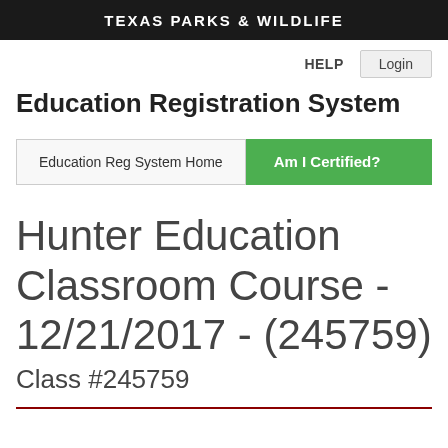TEXAS PARKS & WILDLIFE
HELP   Login
Education Registration System
Education Reg System Home    Am I Certified?
Hunter Education Classroom Course - 12/21/2017 - (245759)
Class #245759